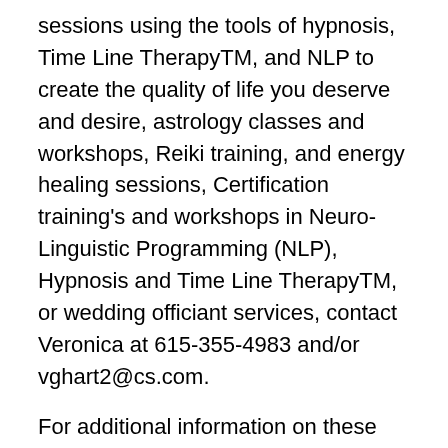sessions using the tools of hypnosis, Time Line TherapyTM, and NLP to create the quality of life you deserve and desire, astrology classes and workshops, Reiki training, and energy healing sessions, Certification training's and workshops in Neuro-Linguistic Programming (NLP), Hypnosis and Time Line TherapyTM, or wedding officiant services, contact Veronica at 615-355-4983 and/or vghart2@cs.com.
For additional information on these services, visit www.awarenessthroughastrology.com, www.alternativelearningtechnologies.com, and/or www.rainbowsofenlightenment.com.
NOTE: Rainbows of Enlightenment is under construction
.DISCLAIMER: The astrological information shared in this